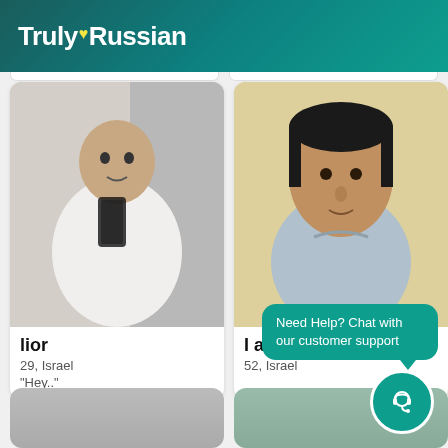TrulyRussian
[Figure (photo): Profile photo of lior, young man in white t-shirt taking mirror selfie in bathroom]
lior
29, Israel
"Hey.."
[Figure (photo): Profile photo of man looking for wife, middle-aged man in grey shirt taking selfie]
I am looking for wife
52, Israel
Need Help? Chat with our customer support